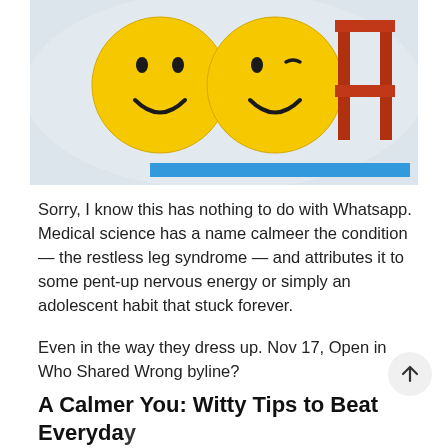[Figure (photo): Two yellow smiley face balls (one winking) next to a red chair on a white background, with a blue horizontal bar across the bottom of the image.]
Sorry, I know this has nothing to do with Whatsapp. Medical science has a name calmeer the condition — the restless leg syndrome — and attributes it to some pent-up nervous energy or simply an adolescent habit that stuck forever.
Even in the way they dress up. Nov 17, Open in Who Shared Wrong byline?
A Calmer You: Witty Tips to Beat Everyday